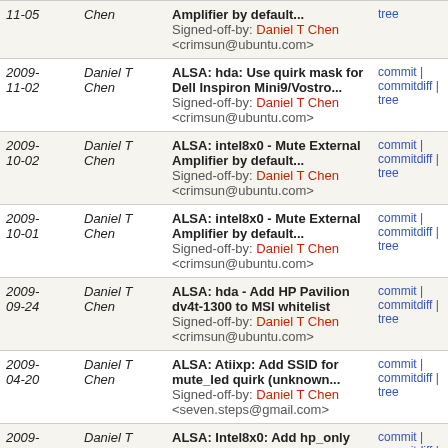| Date | Author | Commit message | Links |
| --- | --- | --- | --- |
| 2009-11-05 | Daniel T Chen | Amplifier by default...
Signed-off-by: Daniel T Chen <crimsun@ubuntu.com> | commit | commitdiff | tree |
| 2009-11-02 | Daniel T Chen | ALSA: hda: Use quirk mask for Dell Inspiron Mini9/Vostro...
Signed-off-by: Daniel T Chen <crimsun@ubuntu.com> | commit | commitdiff | tree |
| 2009-10-02 | Daniel T Chen | ALSA: intel8x0 - Mute External Amplifier by default...
Signed-off-by: Daniel T Chen <crimsun@ubuntu.com> | commit | commitdiff | tree |
| 2009-10-01 | Daniel T Chen | ALSA: intel8x0 - Mute External Amplifier by default...
Signed-off-by: Daniel T Chen <crimsun@ubuntu.com> | commit | commitdiff | tree |
| 2009-09-24 | Daniel T Chen | ALSA: hda - Add HP Pavilion dv4t-1300 to MSI whitelist
Signed-off-by: Daniel T Chen <crimsun@ubuntu.com> | commit | commitdiff | tree |
| 2009-04-20 | Daniel T Chen | ALSA: Atiixp: Add SSID for mute_led quirk (unknown...
Signed-off-by: Daniel T Chen <seven.steps@gmail.com> | commit | commitdiff | tree |
| 2009-04-16 | Daniel T Chen | ALSA: Intel8x0: Add hp_only quirk for SSID 0x1028016a...
Signed-off-by: Daniel T Chen <seven.steps@gmail.com> | commit | commitdiff | tree |
| 2009-04-13 | Daniel T Chen | ALSA: Intel8x0: Remove conflicting... | commit | commitdiff |